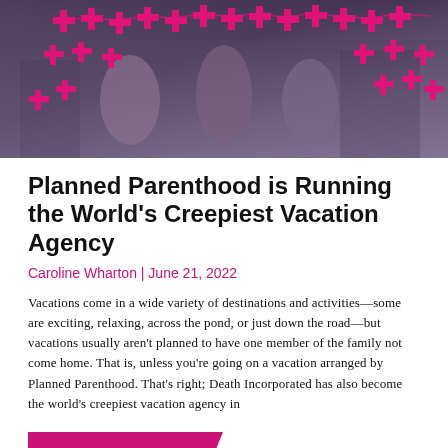[Figure (photo): Three young women smiling and holding up a connected chain of pink cross-shaped figures in what appears to be a city street or plaza setting.]
Planned Parenthood is Running the World's Creepiest Vacation Agency
Caroline Wharton | June 21, 2022
Vacations come in a wide variety of destinations and activities—some are exciting, relaxing, across the pond, or just down the road—but vacations usually aren't planned to have one member of the family not come home. That is, unless you're going on a vacation arranged by Planned Parenthood. That's right; Death Incorporated has also become the world's creepiest vacation agency in
READ MORE